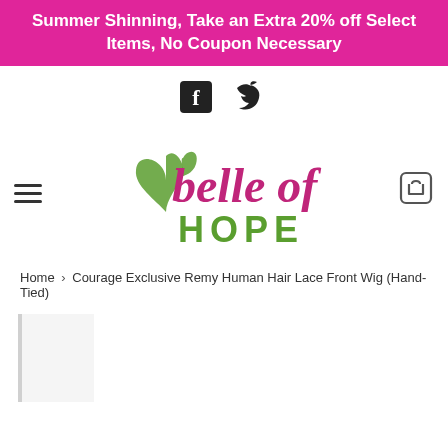Summer Shinning, Take an Extra 20% off Select Items, No Coupon Necessary
[Figure (logo): Facebook and Twitter social media icons]
[Figure (logo): Belle of Hope brand logo with green heart and pink/magenta cursive text]
Home › Courage Exclusive Remy Human Hair Lace Front Wig (Hand-Tied)
[Figure (photo): Partial product image area at bottom left, light background]